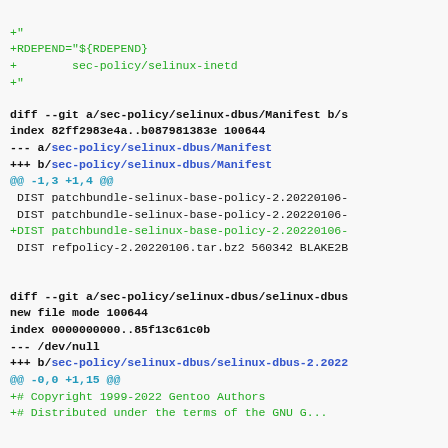+"
+RDEPEND="${RDEPEND}
+        sec-policy/selinux-inetd
+"
diff --git a/sec-policy/selinux-dbus/Manifest b/s
index 82ff2983e4a..b087981383e 100644
--- a/sec-policy/selinux-dbus/Manifest
+++ b/sec-policy/selinux-dbus/Manifest
@@ -1,3 +1,4 @@
 DIST patchbundle-selinux-base-policy-2.20220106-
 DIST patchbundle-selinux-base-policy-2.20220106-
+DIST patchbundle-selinux-base-policy-2.20220106-
 DIST refpolicy-2.20220106.tar.bz2 560342 BLAKE2B
diff --git a/sec-policy/selinux-dbus/selinux-dbus
new file mode 100644
index 0000000000..85f13c61c0b
--- /dev/null
+++ b/sec-policy/selinux-dbus/selinux-dbus-2.2022
@@ -0,0 +1,15 @@
+# Copyright 1999-2022 Gentoo Authors
+# Distributed under the terms of the GNU G...